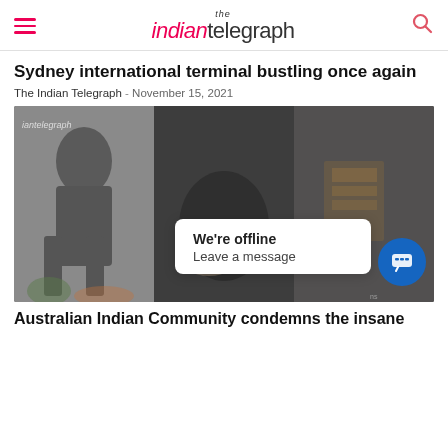the indian telegraph
Sydney international terminal bustling once again
The Indian Telegraph - November 15, 2021
[Figure (photo): Composite photo showing a dark bronze statue (likely Gandhi) from multiple angles — full figure on left, close-up torso in center, close-up with carved relief detail on right. Image is dimmed/faded.]
We're offline
Leave a message
Australian Indian Community condemns the insane